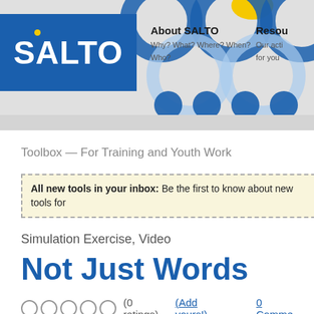[Figure (screenshot): SALTO website header with blue SALTO logo, decorative chain-link circles, About SALTO nav item, and Resources nav item]
Toolbox — For Training and Youth Work
All new tools in your inbox: Be the first to know about new tools for...
Simulation Exercise, Video
Not Just Words
(0 ratings)  (Add yours!)  0 Comments